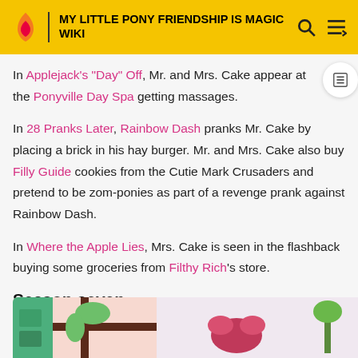MY LITTLE PONY FRIENDSHIP IS MAGIC WIKI
In Applejack's "Day" Off, Mr. and Mrs. Cake appear at the Ponyville Day Spa getting massages.
In 28 Pranks Later, Rainbow Dash pranks Mr. Cake by placing a brick in his hay burger. Mr. and Mrs. Cake also buy Filly Guide cookies from the Cutie Mark Crusaders and pretend to be zom-ponies as part of a revenge prank against Rainbow Dash.
In Where the Apple Lies, Mrs. Cake is seen in the flashback buying some groceries from Filthy Rich's store.
Season seven
[Figure (illustration): Cartoon illustration showing colorful My Little Pony characters near a window with a pink and green background]